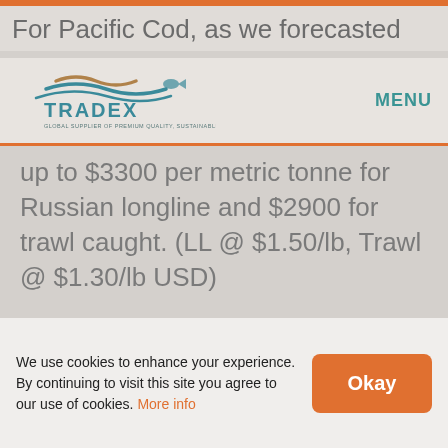For Pacific Cod, as we forecasted
[Figure (logo): Tradex logo with fish and wave icon, text TRADEX and tagline GLOBAL SUPPLIER OF PREMIUM QUALITY, SUSTAINABLE SEAFOOD]
up to $3300 per metric tonne for Russian longline and $2900 for trawl caught. (LL @ $1.50/lb, Trawl @ $1.30/lb USD)
Moving onto Haddock and with supply so short, China raw
We use cookies to enhance your experience. By continuing to visit this site you agree to our use of cookies. More info